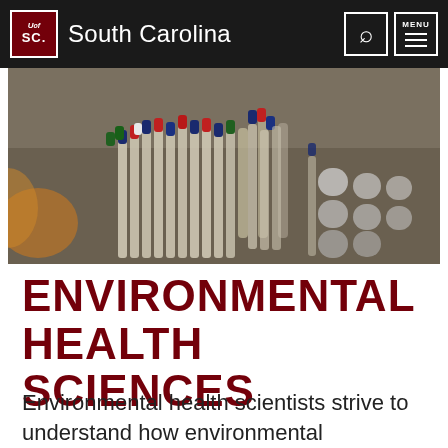University of South Carolina
[Figure (photo): Close-up photo of laboratory test tubes/vials with colorful caps (blue, red, green, white) bundled together in a lab setting with blurred background showing lab equipment and white containers.]
ENVIRONMENTAL HEALTH SCIENCES
Environmental health scientists strive to understand how environmental exposures affect human health and disease, and how human activities affect the environment. We study the